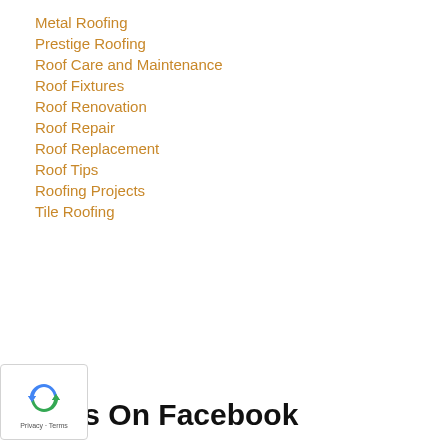Metal Roofing
Prestige Roofing
Roof Care and Maintenance
Roof Fixtures
Roof Renovation
Roof Repair
Roof Replacement
Roof Tips
Roofing Projects
Tile Roofing
n Us On Facebook
[Figure (logo): reCAPTCHA badge with recycling arrow icon and Privacy - Terms text]